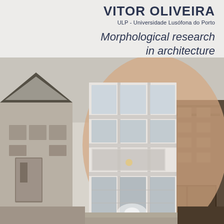VITOR OLIVEIRA
ULP - Universidade Lusófona do Porto
Morphological research in architecture
[Figure (photo): Book cover photograph showing a modern multi-story building facade in the center flanked by older buildings on the left and right, with a large peach/salmon colored abstract oval shape overlaid on the composition. The central building has large glass windows and a white frame structure. The left building is a traditional style with a peaked dark roof. The right building is darker brick. The overall image is partially desaturated/sepia toned.]